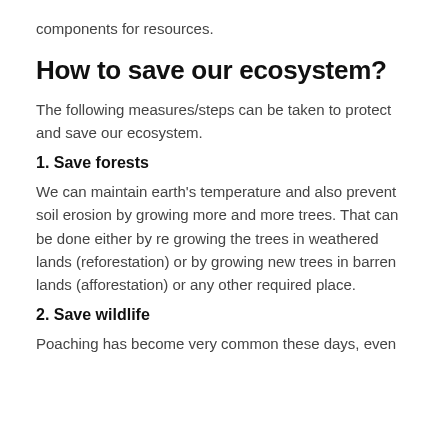components for resources.
How to save our ecosystem?
The following measures/steps can be taken to protect and save our ecosystem.
1. Save forests
We can maintain earth's temperature and also prevent soil erosion by growing more and more trees. That can be done either by re growing the trees in weathered lands (reforestation) or by growing new trees in barren lands (afforestation) or any other required place.
2. Save wildlife
Poaching has become very common these days, even